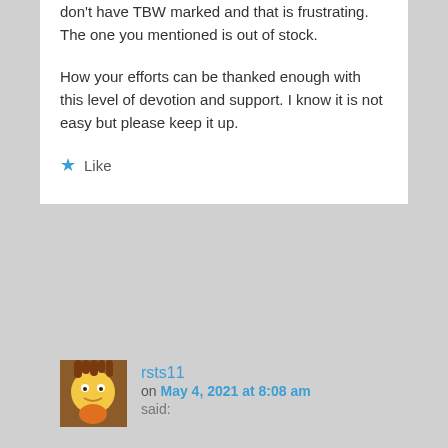don't have TBW marked and that is frustrating. The one you mentioned is out of stock.
How your efforts can be thanked enough with this level of devotion and support. I know it is not easy but please keep it up.
★ Like
rsts11 on May 4, 2021 at 8:08 am said:
I will say this… I think I'm pretty good at tracking down specs and stats (when you have hardware refurbishing as a hobby, you get